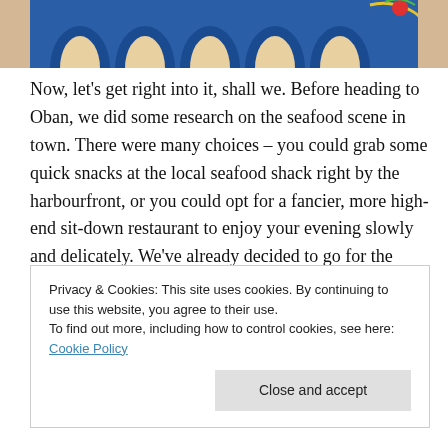[Figure (photo): Partial view of a colorful decorative sign or mural with blue, yellow, and red colors at the top of the page]
Now, let's get right into it, shall we. Before heading to Oban, we did some research on the seafood scene in town. There were many choices – you could grab some quick snacks at the local seafood shack right by the harbourfront, or you could opt for a fancier, more high-end sit-down restaurant to enjoy your evening slowly and delicately. We've already decided to go for the latter and chose the much acclaimed Ee-Usk, a restaurant that had
Privacy & Cookies: This site uses cookies. By continuing to use this website, you agree to their use.
To find out more, including how to control cookies, see here: Cookie Policy
Close and accept